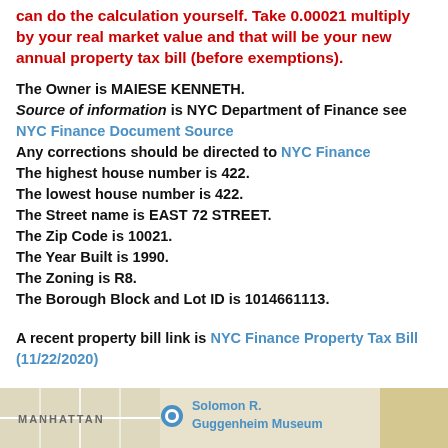can do the calculation yourself. Take 0.00021 multiply by your real market value and that will be your new annual property tax bill (before exemptions).
The Owner is MAIESE KENNETH. Source of information is NYC Department of Finance see NYC Finance Document Source Any corrections should be directed to NYC Finance The highest house number is 422. The lowest house number is 422. The Street name is EAST 72 STREET. The Zip Code is 10021. The Year Built is 1990. The Zoning is R8. The Borough Block and Lot ID is 1014661113.
A recent property bill link is NYC Finance Property Tax Bill (11/22/2020)
Let us help with any questions you have with the NYC property tax search page
[Figure (map): Google Maps screenshot showing Manhattan area with Solomon R. Guggenheim Museum label visible]